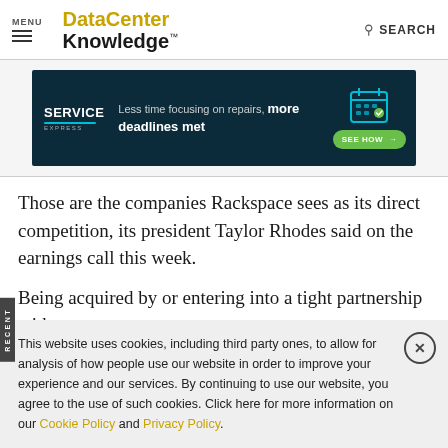MENU | DataCenter Knowledge | SEARCH
[Figure (photo): Service Express advertisement banner: dark blue background with a woman smiling, text 'Less time focusing on repairs, more deadlines met', green SEE HOW button with arrow]
Those are the companies Rackspace sees as its direct competition, its president Taylor Rhodes said on the earnings call this week.
Being acquired by or entering into a tight partnership with a
This website uses cookies, including third party ones, to allow for analysis of how people use our website in order to improve your experience and our services. By continuing to use our website, you agree to the use of such cookies. Click here for more information on our Cookie Policy and Privacy Policy.